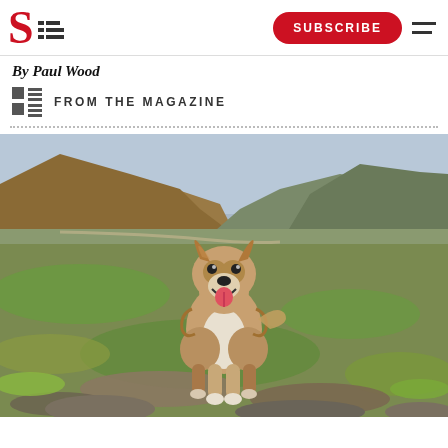Spectator logo with SUBSCRIBE button and hamburger menu
By Paul Wood
FROM THE MAGAZINE
[Figure (photo): A happy golden-brown and white Corgi-type dog standing on rocky moorland terrain, mouth open and tongue out, smiling at camera. Rolling hills and valley visible in the background under an overcast sky.]